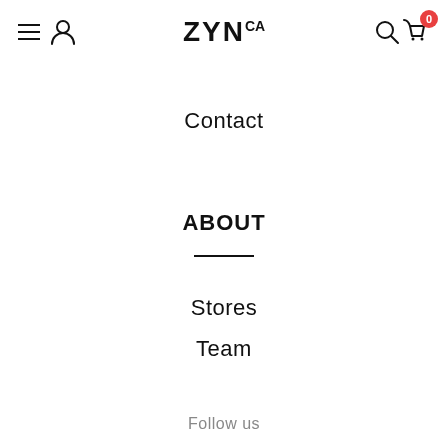ZYN.ca navigation header with hamburger menu, user icon, logo, search icon, and cart icon (badge: 0)
Contact
ABOUT
Stores
Team
Follow us